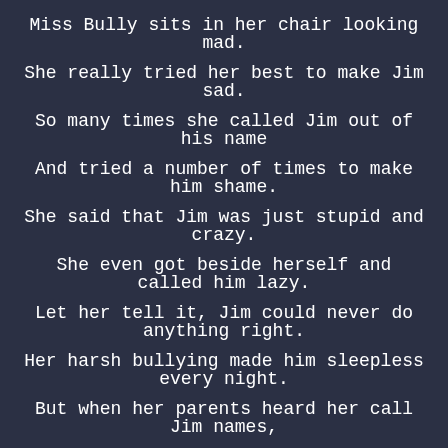Miss Bully sits in her chair looking mad.
She really tried her best to make Jim sad.
So many times she called Jim out of his name
And tried a number of times to make him shame.
She said that Jim was just stupid and crazy.
She even got beside herself and called him lazy.
Let her tell it, Jim could never do anything right.
Her harsh bullying made him sleepless every night.
But when her parents heard her call Jim names,
They made her do something about that...